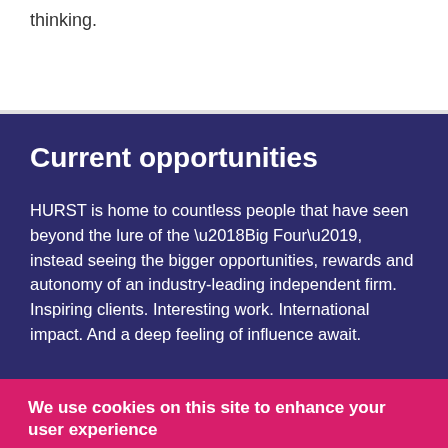thinking.
Current opportunities
HURST is home to countless people that have seen beyond the lure of the ‘Big Four’, instead seeing the bigger opportunities, rewards and autonomy of an industry-leading independent firm. Inspiring clients. Interesting work. International impact. And a deep feeling of influence await.
We use cookies on this site to enhance your user experience
By clicking the Accept button, you agree to us doing so. More info
No, thanks
Accept